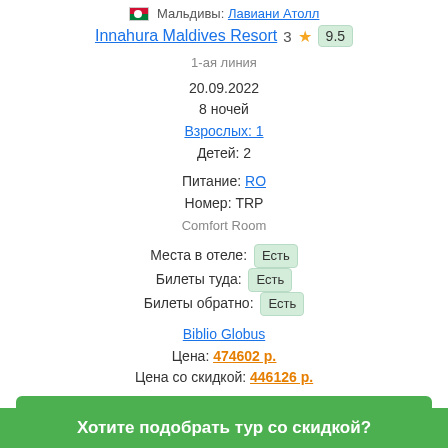Мальдивы: Лавиани Атолл
Innahura Maldives Resort  3  9.5
1-ая линия
20.09.2022
8 ночей
Взрослых: 1
Детей: 2
Питание: RO
Номер: TRP
Comfort Room
Места в отеле: Есть
Билеты туда: Есть
Билеты обратно: Есть
Biblio Globus
Цена: 474602 р.
Цена со скидкой: 446126 р.
Купить со скидкой
Хотите подобрать тур со скидкой?